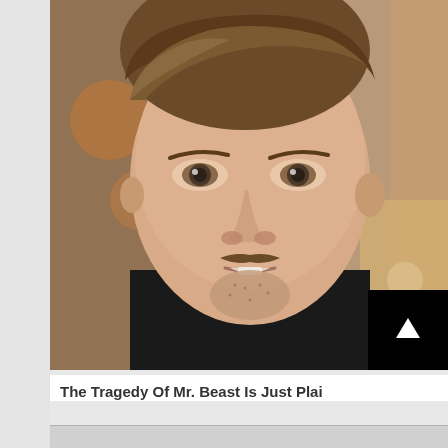[Figure (photo): Close-up photo of a young man with brown hair swept to the side, light stubble and a small mustache, wearing a black shirt, photographed indoors with a blurred background suggesting a restaurant or bar setting.]
The Tragedy Of Mr. Beast Is Just Plai